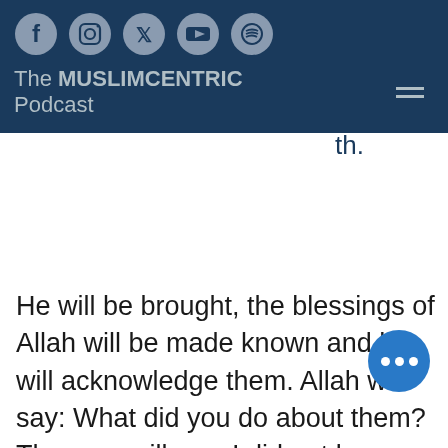The MUSLIMCENTRIC Podcast
t into iven from th. He will be brought, the blessings of Allah will be made known and he will acknowledge them. Allah will say: What did you do about them? The man will say: I did not leave any good cause beloved to you but that I spent on it for your sake. Allah will say: You have lied, for you spent only that it would be said you are generous, and thus it was said. Then, A will order him to be dragged will order him to be dragged